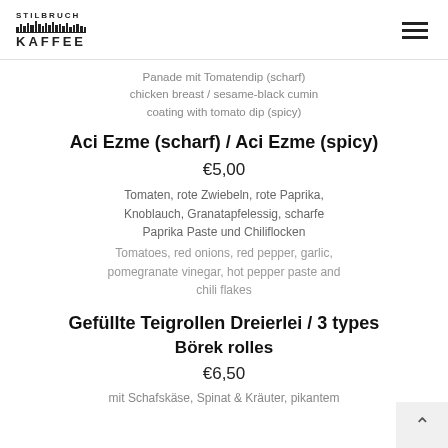STILBRUCH KAFFEE
Panade mit Tomatendip (scharf)
chicken breast / sesame-black cumin coating with tomato dip (spicy)
Aci Ezme (scharf) / Aci Ezme (spicy)
€5,00
Tomaten, rote Zwiebeln, rote Paprika, Knoblauch, Granatapfelessig, scharfe Paprika Paste und Chiliflocken
Tomatoes, red onions, red pepper, garlic, pomegranate vinegar, hot pepper paste and chili flakes
Gefüllte Teigrollen Dreierlei / 3 types Börek rolles
€6,50
mit Schafskäse, Spinat & Kräuter, pikantem